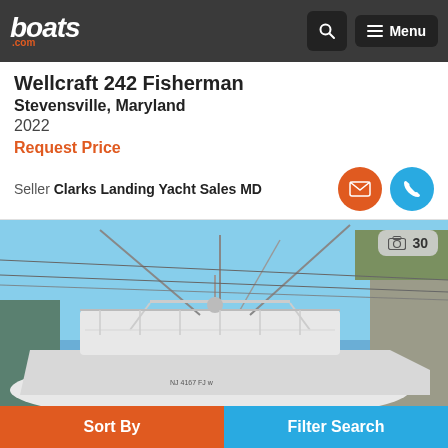boats.com — Menu
Wellcraft 242 Fisherman
Stevensville, Maryland
2022
Request Price
Seller Clarks Landing Yacht Sales MD
[Figure (photo): Wellcraft 242 Fisherman boat photographed outdoors in a boatyard, showing the bow and outriggers against a blue sky, with a registration number visible on the hull. Photo counter shows 30 images.]
Sort By    Filter Search